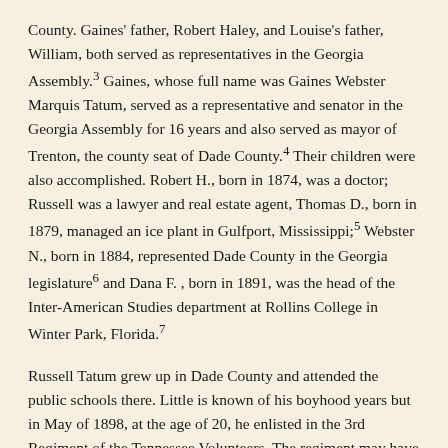County. Gaines' father, Robert Haley, and Louise's father, William, both served as representatives in the Georgia Assembly.³ Gaines, whose full name was Gaines Webster Marquis Tatum, served as a representative and senator in the Georgia Assembly for 16 years and also served as mayor of Trenton, the county seat of Dade County.⁴ Their children were also accomplished. Robert H., born in 1874, was a doctor; Russell was a lawyer and real estate agent, Thomas D., born in 1879, managed an ice plant in Gulfport, Mississippi;⁵ Webster N., born in 1884, represented Dade County in the Georgia legislature⁶ and Dana F. , born in 1891, was the head of the Inter-American Studies department at Rollins College in Winter Park, Florida.⁷
Russell Tatum grew up in Dade County and attended the public schools there. Little is known of his boyhood years but in May of 1898, at the age of 20, he enlisted in the 3rd Regiment of the Tennessee Volunteers. The regiment may have been sent to Tampa, Florida, the main staging ground for American troops fighting in the Spanish-American War.⁸ The regiment may have disbanded...